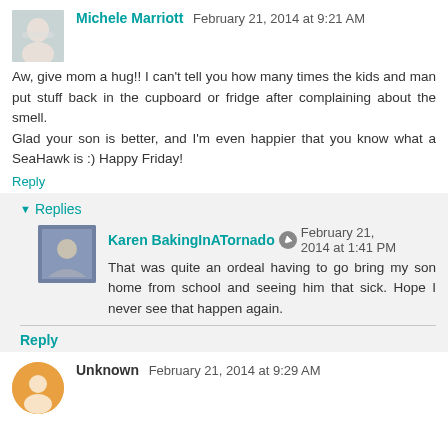Michele Marriott  February 21, 2014 at 9:21 AM
Aw, give mom a hug!! I can't tell you how many times the kids and man put stuff back in the cupboard or fridge after complaining about the smell.
Glad your son is better, and I'm even happier that you know what a SeaHawk is :) Happy Friday!
Reply
Replies
Karen BakingInATornado  February 21, 2014 at 1:41 PM
That was quite an ordeal having to go bring my son home from school and seeing him that sick. Hope I never see that happen again.
Reply
Unknown  February 21, 2014 at 9:29 AM